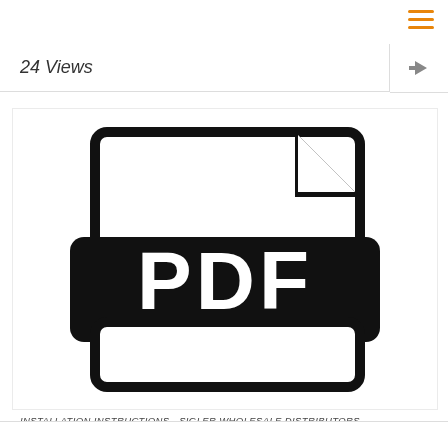24 Views
[Figure (other): PDF file icon — large black document icon with folded corner and banner reading 'PDF']
INSTALLATION INSTRUCTIONS - SIGLER WHOLESALE DISTRIBUTORS